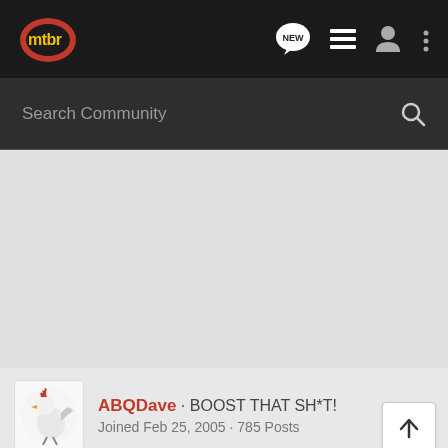[Figure (logo): mtbr logo — yellow text on dark background with red circle element]
Search Community
[Figure (illustration): Gray advertisement/spacer area]
ABQDave · BOOST THAT SH*T!
Joined Feb 25, 2005 · 785 Posts
[Figure (photo): THE NEW 2022 SILVERADO. Explore — Chevrolet truck advertisement banner with dark background and truck image]